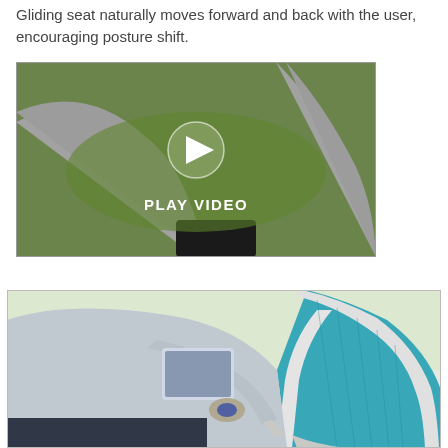Gliding seat naturally moves forward and back with the user, encouraging posture shift.
[Figure (photo): Close-up photo of a green office chair seat and white frame structure, with a play button overlay and 'PLAY VIDEO' text, indicating a video thumbnail.]
[Figure (photo): Person sitting in a white-framed office chair with teal/turquoise mesh back, using a tablet device, viewed from behind/side in an office setting.]